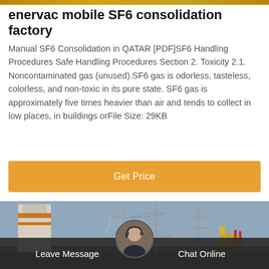enervac mobile SF6 consolidation factory
Manual SF6 Consolidation in QATAR [PDF]SF6 Handling Procedures Safe Handling Procedures Section 2. Toxicity 2.1. Noncontaminated gas (unused).SF6 gas is odorless, tasteless, colorless, and non-toxic in its pure state. SF6 gas is approximately five times heavier than air and tends to collect in low places, in buildings orFile Size: 29KB
[Figure (other): Orange 'Get Price' button]
[Figure (photo): Electrical substation with transmission towers and equipment, viewed from low angle against a blue sky]
Leave Message   Chat Online